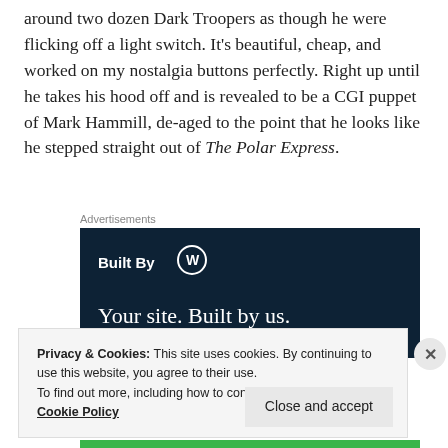around two dozen Dark Troopers as though he were flicking off a light switch. It’s beautiful, cheap, and worked on my nostalgia buttons perfectly. Right up until he takes his hood off and is revealed to be a CGI puppet of Mark Hammill, de-aged to the point that he looks like he stepped straight out of The Polar Express.
[Figure (other): Advertisement banner with dark navy background reading 'Built By WordPress logo — Your site. Built by us.' with a green progress bar at bottom]
Privacy & Cookies: This site uses cookies. By continuing to use this website, you agree to their use.
To find out more, including how to control cookies, see here: Cookie Policy